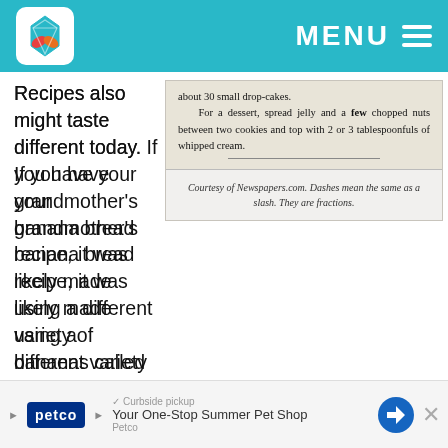MENU
[Figure (photo): Scanned newspaper clipping showing recipe text: 'about 30 small drop-cakes. For a dessert, spread jelly and a few chopped nuts between two cookies and top with 2 or 3 tablespoonfuls of whipped cream.']
Courtesy of Newspapers.com. Dashes mean the same as a slash. They are fractions.
Recipes also might taste different today. If you have your grandmother’s banana bread recipe, it was likely made using a different variety of bananas called Gros Michel. In the 1950s, a disease destroyed wiped out the banana crop, and farmers started growing a variety of bananas called Cavendish. Apparently, the Gross Michel
[Figure (screenshot): Advertisement for Petco: Your One-Stop Summer Pet Shop]